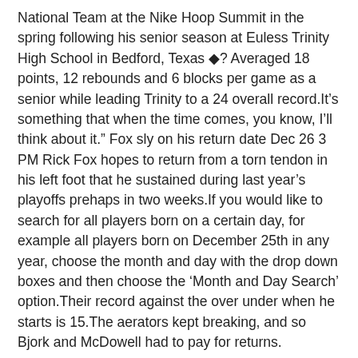National Team at the Nike Hoop Summit in the spring following his senior season at Euless Trinity High School in Bedford, Texas ◆? Averaged 18 points, 12 rebounds and 6 blocks per game as a senior while leading Trinity to a 24 overall record.It’s something that when the time comes, you know, I’ll think about it.” Fox sly on his return date Dec 26 3 PM Rick Fox hopes to return from a torn tendon in his left foot that he sustained during last year’s playoffs prehaps in two weeks.If you would like to search for all players born on a certain day, for example all players born on December 25th in any year, choose the month and day with the drop down boxes and then choose the ‘Month and Day Search’ option.Their record against the over under when he starts is 15.The aerators kept breaking, and so Bjork and McDowell had to pay for returns.
To be honest with you, it looked like it got bottled up and then he found his way out of it.They also run 67 plays per game and average 5 yards per play for a total of 358 yards per game.Without any experience against the Twins, Martinez will probably rely on the scouting report and advice from the rest of the pitching staff for clues as to how to handle the Minnesota lineup.They average 52 rebounds per game and 24 assists per game which ranks